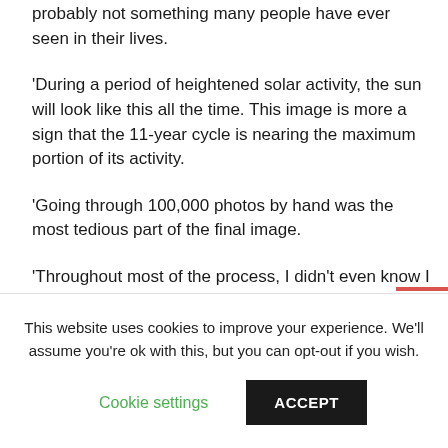probably not something many people have ever seen in their lives.
'During a period of heightened solar activity, the sun will look like this all the time. This image is more a sign that the 11-year cycle is nearing the maximum portion of its activity.
'Going through 100,000 photos by hand was the most tedious part of the final image.
'Throughout most of the process, I didn't even know I would have a decent image at the end. I was thankful when it turned out as well as it did.'
Andrew individually selected the 30,000 photos that make up the final image out of a stack of 100,000.
This website uses cookies to improve your experience. We'll assume you're ok with this, but you can opt-out if you wish.
Cookie settings
ACCEPT